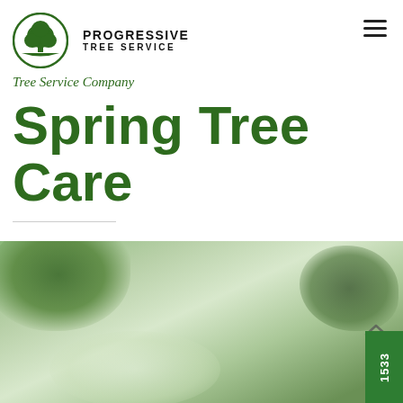[Figure (logo): Progressive Tree Service logo: circular green emblem with tree silhouette, company name in bold caps]
Tree Service Company
Spring Tree Care
[Figure (photo): Blurred close-up photograph of green tree leaves with soft bokeh background in muted greens]